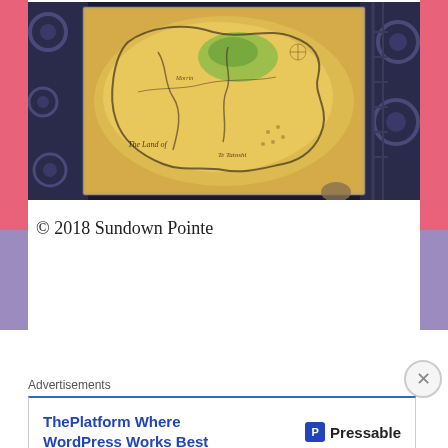[Figure (photo): A fantasy map illuminated and displayed in a dark exhibition space. The map shows illustrated landmasses with place names in a stylized font, including text reading 'The Land of...' and other partially visible labels. The surrounding area shows dark mechanical/steampunk-style structures with gears and machinery on either side.]
© 2018 Sundown Pointe
Advertisements
[Figure (other): Advertisement banner for Pressable WordPress hosting. Blue bold text reads 'ThePlatform Where WordPress Works Best' with Pressable logo (blue square with 'P' icon) and 'Pressable' text on the right.]